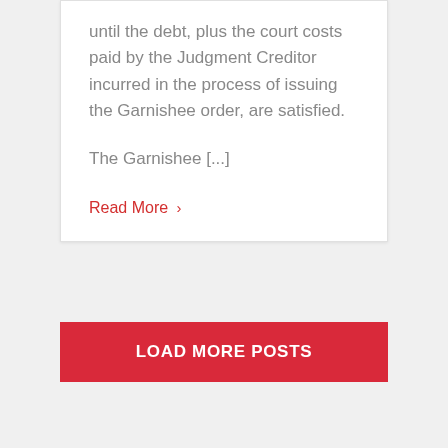until the debt, plus the court costs paid by the Judgment Creditor incurred in the process of issuing the Garnishee order, are satisfied.
The Garnishee [...]
Read More >
LOAD MORE POSTS